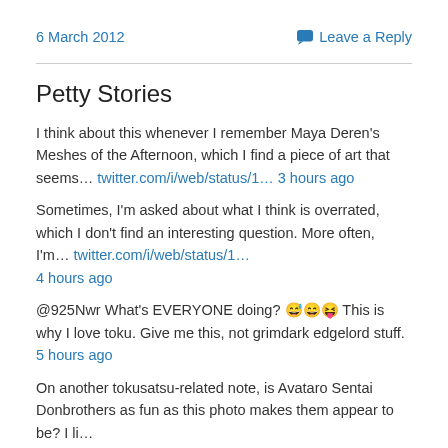6 March 2012
Leave a Reply
Petty Stories
I think about this whenever I remember Maya Deren's Meshes of the Afternoon, which I find a piece of art that seems… twitter.com/i/web/status/1… 3 hours ago
Sometimes, I'm asked about what I think is overrated, which I don't find an interesting question. More often, I'm… twitter.com/i/web/status/1… 4 hours ago
@925Nwr What's EVERYONE doing? 😅😄😝 This is why I love toku. Give me this, not grimdark edgelord stuff. 5 hours ago
On another tokusatsu-related note, is Avataro Sentai Donbrothers as fun as this photo makes them appear to be? I li… twitter.com/i/web/status/1… 5 hours ago